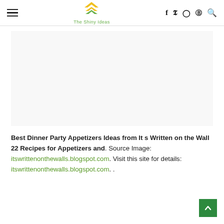The Shiny Ideas — navigation header with hamburger menu, logo, and social icons
[Figure (photo): Large blank/white image placeholder area]
Best Dinner Party Appetizers Ideas from It s Written on the Wall 22 Recipes for Appetizers and. Source Image: itswrittenonthewalls.blogspot.com. Visit this site for details: itswrittenonthewalls.blogspot.com. .